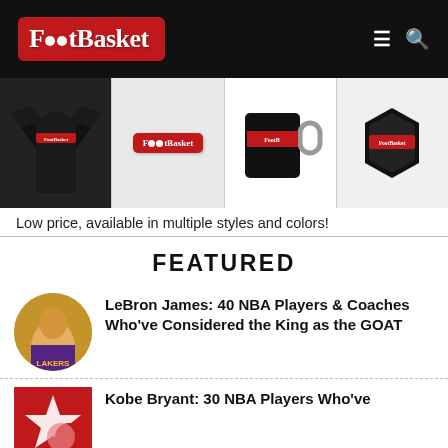FootBasket
[Figure (photo): FootBasket branded merchandise strip: sweatshirt, sticker, mug, and cap/mask]
Low price, available in multiple styles and colors!
FEATURED
[Figure (photo): Circular thumbnail of LeBron James in Lakers jersey]
LeBron James: 40 NBA Players & Coaches Who've Considered the King as the GOAT
[Figure (photo): Red square thumbnail with star/crescent logo for Kobe Bryant article]
Kobe Bryant: 30 NBA Players Who've